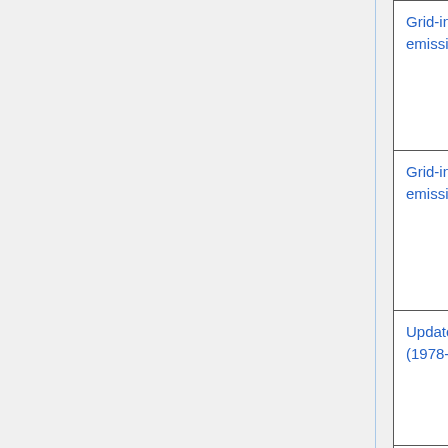| Feature | Contact | Type |
| --- | --- | --- |
| Grid-independent sea salt emissions (hourly) | Jintai Lin (PKU)
Hongjian Meng (PKU) | Science |
| Grid-independent soil NOx emissions (hourly) | Jintai Lin (PKU)
Hongjian Meng (PKU) | Science |
| Updated volcano emissions (1978-2019) | Christoph Keller (NASA/GMAO) | Science |
| Bug fix: Rebuild chemical mechanisms | Katie Travis (NASA) | Bug fix |